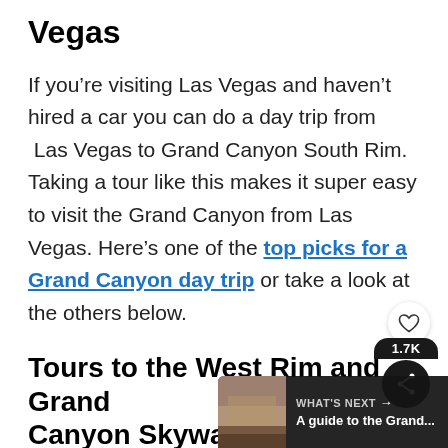Vegas
If you’re visiting Las Vegas and haven’t hired a car you can do a day trip from Las Vegas to Grand Canyon South Rim. Taking a tour like this makes it super easy to visit the Grand Canyon from Las Vegas. Here’s one of the top picks for a Grand Canyon day trip or take a look at the others below.
Tours to the West Rim and Grand Canyon Skywalk
One of the biggest Grand Canyon to attractions is the Skywalk which is at Grand